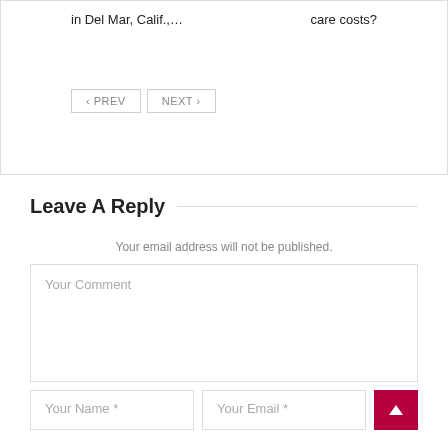in Del Mar, Calif.,…
care costs?
‹ PREV
NEXT ›
Leave A Reply
Your email address will not be published.
Your Comment
Your Name *
Your Email *